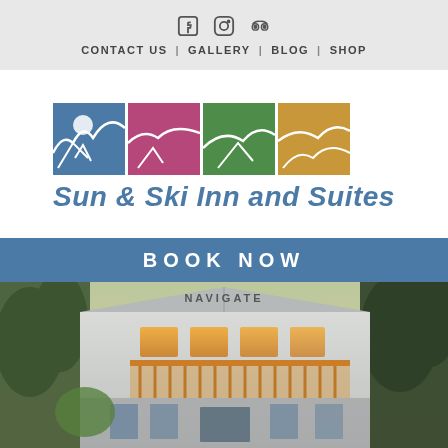Social icons: Facebook, Instagram, TripAdvisor | CONTACT US | GALLERY | BLOG | SHOP
[Figure (logo): Sun & Ski Inn and Suites logo: four colored squares (blue, magenta, green, gold) with mountain/landscape line art]
Sun & Ski Inn and Suites
BOOK NOW
NAVIGATE
[Figure (photo): Exterior photo of Sun & Ski Inn and Suites building at golden hour, showing white/light blue siding, wooden balcony with warm lighting, surrounded by trees]